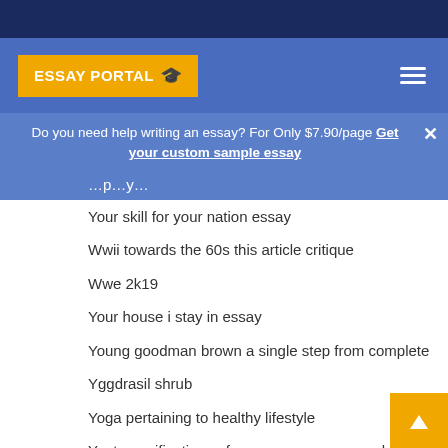[Figure (logo): Essay Portal logo with graduation cap on yellow/orange background in blue navigation bar]
Do you need help writing an essay? For Only $7.90/page Get your custom sample essay
Your skill for your nation essay
Wwii towards the 60s this article critique
Wwe 2k19
Your house i stay in essay
Young goodman brown a single step from complete
Yggdrasil shrub
Yoga pertaining to healthy lifestyle
Yeats ramifications of woman power research
Wright point out university library libraries
Worldwide affected person centered care white
World cup 2010 south africa essay
You have the confidence to advance ahead
We use cookies to make our service more convenient for you.